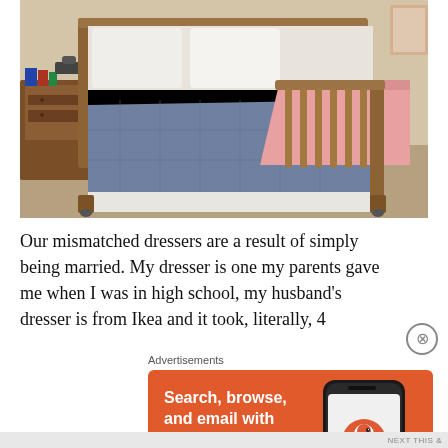[Figure (photo): A bedroom scene showing a wooden spindle bed with a blue/grey comforter and a pink blanket draped over the footboard. A wooden nightstand with books and items is visible to the left. The floor is carpeted.]
Our mismatched dressers are a result of simply being married. My dresser is one my parents gave me when I was in high school, my husband's dresser is from Ikea and it took, literally, 4
Advertisements
[Figure (screenshot): DuckDuckGo advertisement banner with orange background. Left side shows bold white text: 'Search, browse, and email with more privacy.' with a white button labeled 'All in One Free App'. Right side shows a phone mockup with DuckDuckGo logo and 'DuckDuckGo.' text below.]